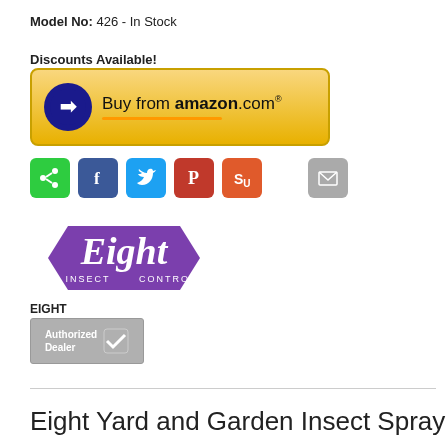Model No: 426 - In Stock
Discounts Available!
[Figure (logo): Buy from amazon.com button - gold/yellow background with Amazon logo and text]
[Figure (infographic): Social sharing icons: share (green), Facebook (blue), Twitter (light blue), Pinterest (red), StumbleUpon (orange), email (grey)]
[Figure (logo): Eight Insect Control brand logo - purple hexagonal shape with white text]
EIGHT
[Figure (logo): Authorized Dealer badge - grey background with white text and checkmark]
Eight Yard and Garden Insect Spray